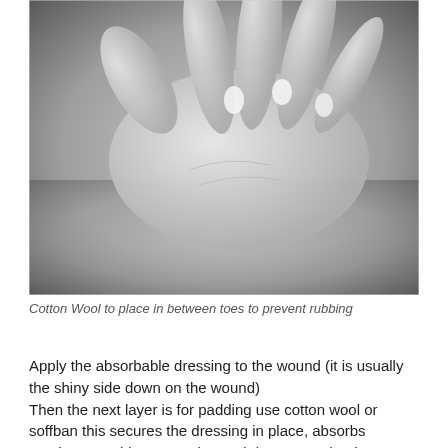[Figure (photo): Black and white photograph of a hand with fingers spread apart, showing cotton wool placed between the toes (or fingers), on a flat surface.]
Cotton Wool to place in between toes to prevent rubbing
Apply the absorbable dressing to the wound (it is usually the shiny side down on the wound)
Then the next layer is for padding use cotton wool or soffban this secures the dressing in place, absorbs exudate, provides protection and decreases dead space to prevent oedema (swelling)